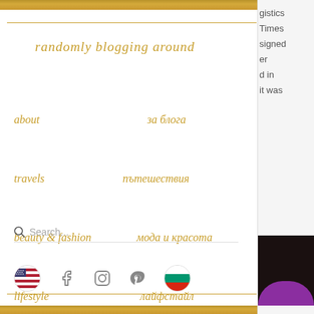randomly blogging around
about / за блога
travels / пътешествия
beauty & fashion / мода и красота
lifestyle / лайфстайл
Search...
[Figure (infographic): Navigation menu with US and Bulgarian flag icons, Facebook, Instagram, Pinterest social media icons]